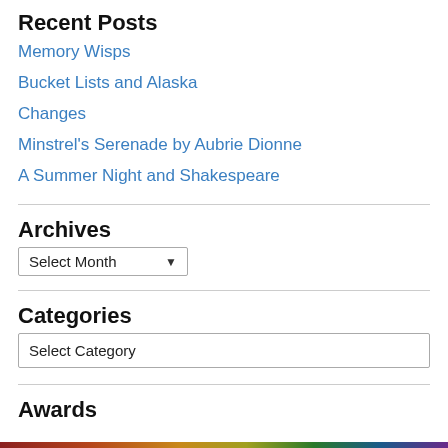Recent Posts
Memory Wisps
Bucket Lists and Alaska
Changes
Minstrel's Serenade by Aubrie Dionne
A Summer Night and Shakespeare
Archives
Select Month
Categories
Select Category
Awards